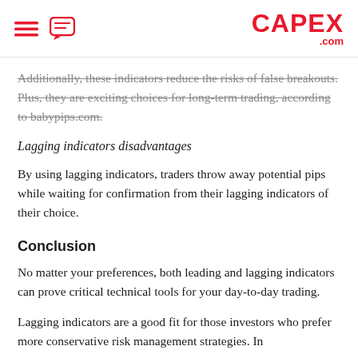CAPEX.com
Additionally, these indicators reduce the risks of false breakouts. Plus, they are exciting choices for long-term trading, according to babypips.com.
Lagging indicators disadvantages
By using lagging indicators, traders throw away potential pips while waiting for confirmation from their lagging indicators of their choice.
Conclusion
No matter your preferences, both leading and lagging indicators can prove critical technical tools for your day-to-day trading.
Lagging indicators are a good fit for those investors who prefer more conservative risk management strategies. In